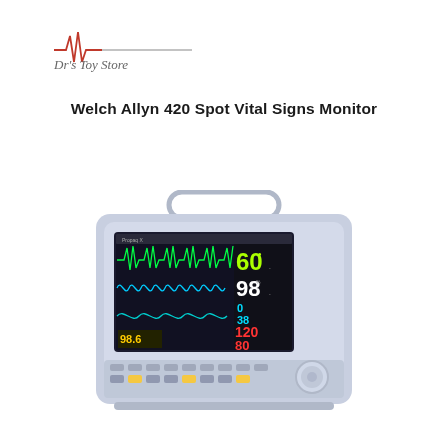[Figure (logo): Dr's Toy Store logo with red EKG heartbeat waveform and horizontal line, text reads Dr's Toy Store in grey serif font]
Welch Allyn 420 Spot Vital Signs Monitor
[Figure (photo): Photo of a Welch Allyn 420 Spot Vital Signs Monitor (Propaq brand), showing the front face of a portable patient monitoring device with a large color display screen showing ECG waveforms in green and cyan, SpO2, heart rate (60 bpm), SpO2 value (98), temperature (98.6), and blood pressure readings (120/80). The monitor has a grey/blue housing with a carry handle on top and multiple control buttons on the front panel.]